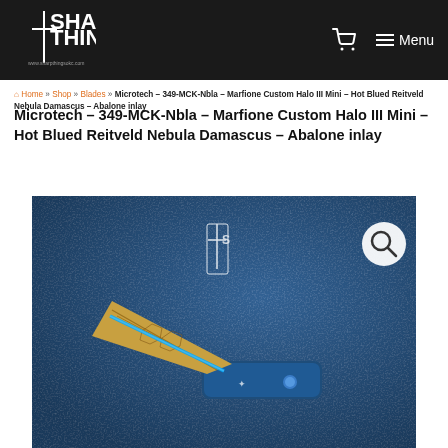Sharp Things — www.sharpthingsokc.com — Cart — Menu
Home » Shop » Blades » Microtech – 349-MCK-Nbla – Marfione Custom Halo III Mini – Hot Blued Reitveld Nebula Damascus – Abalone inlay
Microtech – 349-MCK-Nbla – Marfione Custom Halo III Mini – Hot Blued Reitveld Nebula Damascus – Abalone inlay
[Figure (photo): Photo of a Microtech Marfione Custom Halo III Mini knife with Hot Blued Reitveld Nebula Damascus blade and Abalone inlay on a blue textured background, with a Sharp Things logo watermark and a search magnifier button overlay.]